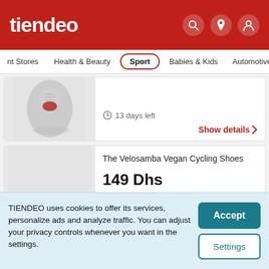tiendeo
Stores | Health & Beauty | Sport | Babies & Kids | Automotive
[Figure (photo): Partial view of a sport shoe (sneaker) with grey and red colorway, seen from above, on a light grey background]
13 days left
Show details >
The Velosamba Vegan Cycling Shoes
149 Dhs
549 Dhs | -73%
[Figure (photo): Bottom sole of a cycling shoe in orange/brown with black cleat, partial view]
TIENDEO uses cookies to offer its services, personalize ads and analyze traffic. You can adjust your privacy controls whenever you want in the settings.
Accept
Settings